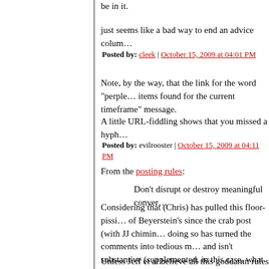be in it.
just seems like a bad way to end an advice colum…
Posted by: cleek | October 15, 2009 at 04:01 PM
Note, by the way, that the link for the word "perple… items found for the current timeframe" message.
A little URL-fiddling shows that you missed a hyph…
Posted by: evilrooster | October 15, 2009 at 04:11 PM
From the posting rules:
Don't disrupt or destroy meaningful conver…
Considering that (Chris) has pulled this floor-pissi… of Beyerstein's since the crab post (with JJ chimin… doing so has turned the comments into tedious m… and isn't substantive (supplemented, in this case,… what is and isn't worthy of banning), I would conte… warrant censure, as they would seem to be a viol…
Unless Jeff et al believe all this goddamn rules law…